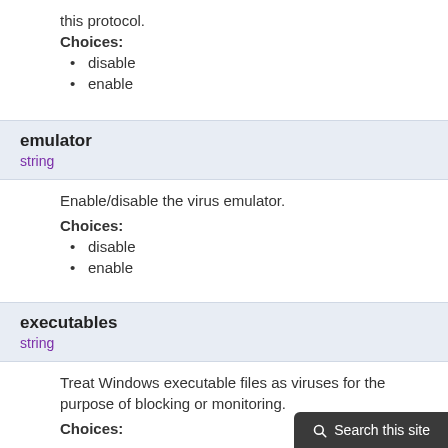this protocol.
Choices:
disable
enable
emulator
string
Enable/disable the virus emulator.
Choices:
disable
enable
executables
string
Treat Windows executable files as viruses for the purpose of blocking or monitoring.
Choices: